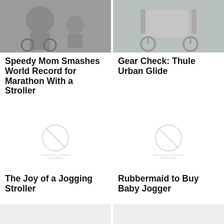[Figure (photo): Photo of a woman running a marathon with a stroller, crowd in background]
[Figure (photo): Photo of a Thule Urban Glide jogging stroller outdoors]
Speedy Mom Smashes World Record for Marathon With a Stroller
Gear Check: Thule Urban Glide
[Figure (photo): Image no longer available placeholder]
[Figure (photo): Image no longer available placeholder]
The Joy of a Jogging Stroller
Rubbermaid to Buy Baby Jogger
[Figure (photo): Partial image strip at bottom left]
[Figure (photo): Partial image strip at bottom right]